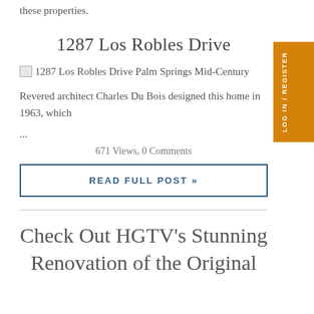these properties.
1287 Los Robles Drive
[Figure (photo): 1287 Los Robles Drive Palm Springs Mid-Century image placeholder]
Revered architect Charles Du Bois designed this home in 1963, which
...
671 Views, 0 Comments
READ FULL POST »
Check Out HGTV's Stunning Renovation of the Original